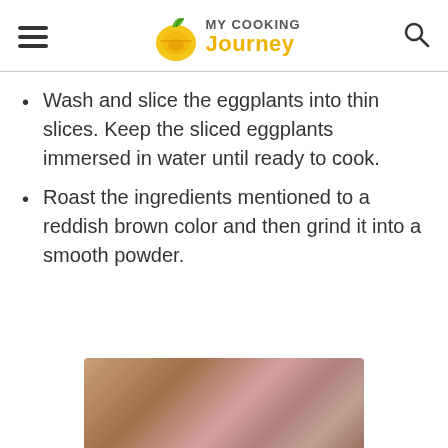MY COOKING Journey
Wash and slice the eggplants into thin slices. Keep the sliced eggplants immersed in water until ready to cook.
Roast the ingredients mentioned to a reddish brown color and then grind it into a smooth powder.
[Figure (photo): Photo of food ingredients — appears to show eggplant/vegetable preparation in a pan or bowl, partially visible at bottom of page.]